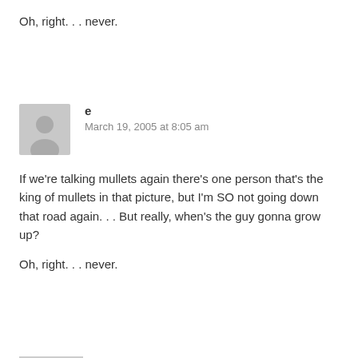Oh, right. . . never.
e
March 19, 2005 at 8:05 am
If we’re talking mullets again there’s one person that’s the king of mullets in that picture, but I’m SO not going down that road again. . . But really, when’s the guy gonna grow up?
Oh, right. . . never.